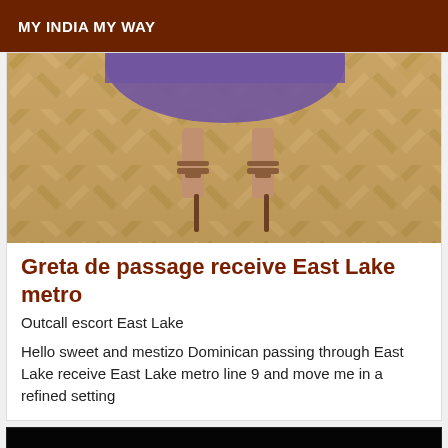MY INDIA MY WAY
[Figure (photo): Close-up of woman's feet in high heel sandals on herringbone parquet floor, wearing purple skirt]
Greta de passage receive East Lake metro
Outcall escort East Lake
Hello sweet and mestizo Dominican passing through East Lake receive East Lake metro line 9 and move me in a refined setting
[Figure (photo): Dark image with faint blue/green light at bottom, nearly black]